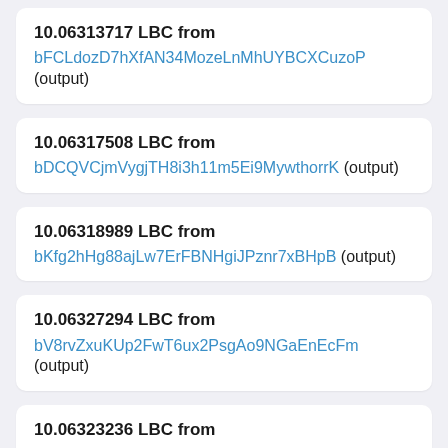10.06313717 LBC from bFCLdozD7hXfAN34MozeLnMhUYBCXCuzoP (output)
10.06317508 LBC from bDCQVCjmVygjTH8i3h11m5Ei9MywthorrK (output)
10.06318989 LBC from bKfg2hHg88ajLw7ErFBNHgiJPznr7xBHpB (output)
10.06327294 LBC from bV8rvZxuKUp2FwT6ux2PsgAo9NGaEnEcFm (output)
10.06323236 LBC from bYTRE9TZrYd7XYmYr7C2PyCpLudj6v6npr (output)